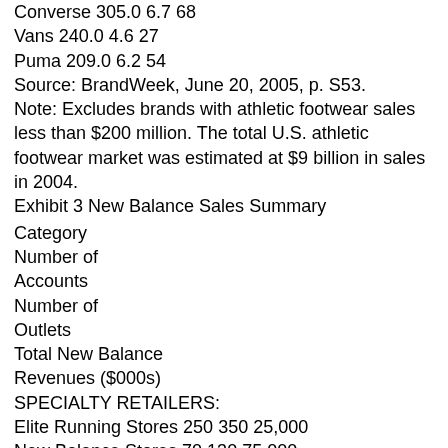Converse 305.0 6.7 68
Vans 240.0 4.6 27
Puma 209.0 6.2 54
Source: BrandWeek, June 20, 2005, p. S53.
Note: Excludes brands with athletic footwear sales less than $200 million. The total U.S. athletic footwear market was estimated at $9 billion in sales in 2004.
Exhibit 3 New Balance Sales Summary
| Category | Number of Accounts | Number of Outlets | Total New Balance Revenues ($000s) |
| --- | --- | --- | --- |
| SPECIALTY RETAILERS: |  |  |  |
| Elite Running Stores | 250 | 350 | 25,000 |
| New Balance Stores | 70 | 130 | 75,000 |
| Other Independent Stores | 3,100 | 3,500 | 150,000 |